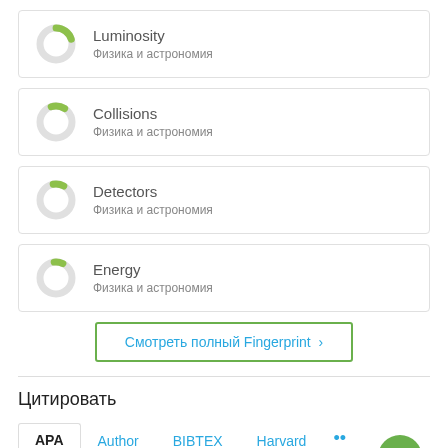Luminosity
Физика и астрономия
Collisions
Физика и астрономия
Detectors
Физика и астрономия
Energy
Физика и астрономия
Смотреть полный Fingerprint ›
Цитировать
APA	Author	BIBTEX	Harvard	…